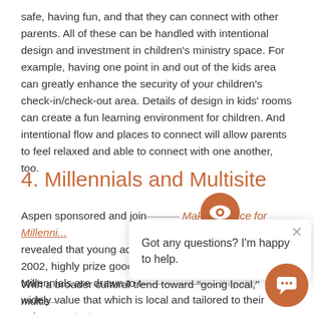safe, having fun, and that they can connect with other parents. All of these can be handled with intentional design and investment in children's ministry space. For example, having one point in and out of the kids area can greatly enhance the security of your children's check-in/check-out area. Details of design in kids' rooms can create a fun learning environment for children. And intentional flow and places to connect will allow parents to feel relaxed and able to connect with one another, too.
4. Millennials and Multisite
Aspen sponsored and joined Making Space for Millennials ... revealed that young adults ... 2002, highly prize good design ... Millennials are drawn to traditional churches. They also widely value that which is local and tailored to their unique context.
With a broader cultural trend toward "going local," multisite and church plants may have a leg up when it comes to